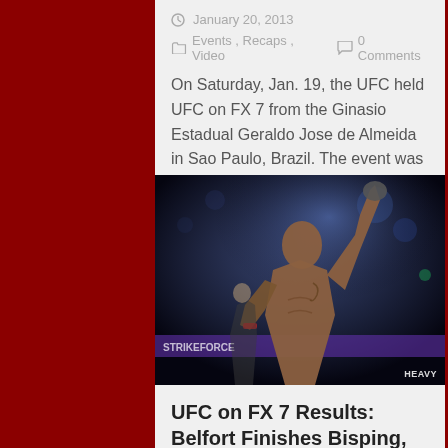January 20, 2013
Events, Recaps, Video  0 Comments
On Saturday, Jan. 19, the UFC held UFC on FX 7 from the Ginasio Estadual Geraldo Jose de Almeida in Sao Paulo, Brazil. The event was headlined by…
[Figure (photo): MMA fighter raising one arm in victory inside an arena, wearing boxing gloves, shirtless, with arena lights in background. Watermark reads HEAVY.]
UFC on FX 7 Results: Belfort Finishes Bisping, Dollaway Edges Sarafian